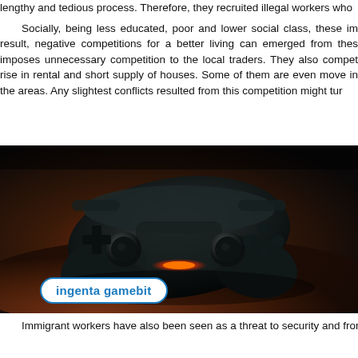lengthy and tedious process. Therefore, they recruited illegal workers who
Socially, being less educated, poor and lower social class, these im result, negative competitions for a better living can emerged from thes imposes unnecessary competition to the local traders. They also compet rise in rental and short supply of houses. Some of them are even move in the areas. Any slightest conflicts resulted from this competition might tur
[Figure (photo): Close-up photo of a black PlayStation game controller (DualShock) lying on a wooden surface with warm orange/red ambient lighting. The controller shows buttons, analog sticks, and a glowing light bar. An 'ingenta gamebit' logo badge is overlaid at the bottom left.]
Immigrant workers have also been seen as a threat to security and from various activities such as, illegal entry, involve in criminal activities,